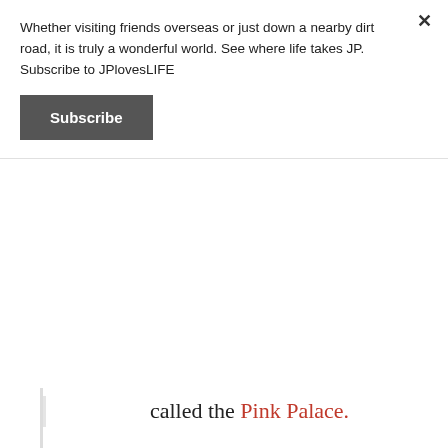Whether visiting friends overseas or just down a nearby dirt road, it is truly a wonderful world. See where life takes JP. Subscribe to JPlovesLIFE
Subscribe
called the Pink Palace.
Okay.... I've given you clues about a few of the choices in poll… I know very few of us get our food from one place, so on the poll I'm making it so you can pick up to three answers!